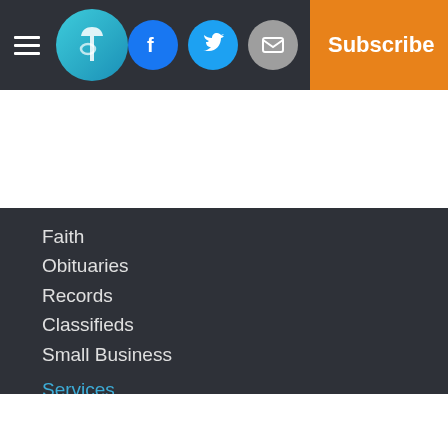[Figure (logo): Newspaper website header bar with hamburger menu, circular logo with stylized T, social media icons (Facebook, Twitter, Email), and orange Subscribe button]
Faith
Obituaries
Records
Classifieds
Small Business
Services
About Us
Subscribe
Policies
Terms of Use
Submit a news tip
Submit a photo
Birth announcement
Birthday announcement